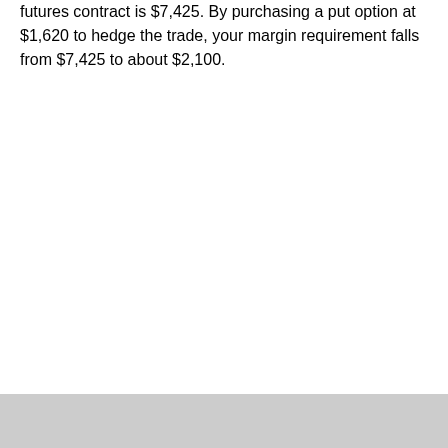futures contract is $7,425. By purchasing a put option at $1,620 to hedge the trade, your margin requirement falls from $7,425 to about $2,100.